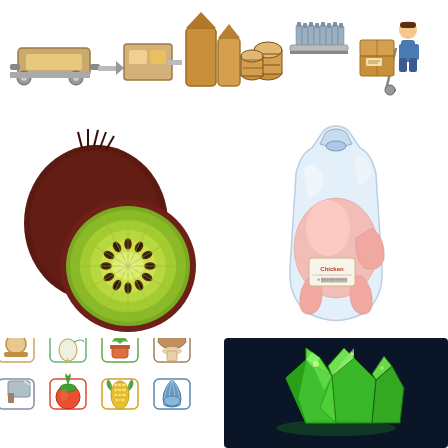[Figure (illustration): A food/beverage production line infographic showing processing equipment: conveyor/roller machine, separator unit, silo/storage tanks, wooden barrels stacked, bottles on conveyor, and a worker with a hand truck carrying boxes — all in a flat cartoon style with brown and gray tones.]
[Figure (illustration): A kiwi fruit illustration showing one whole kiwi (dark reddish-brown exterior) and one half kiwi revealing bright green flesh with yellow-white seeds radiating from center, in a realistic cartoon style.]
[Figure (illustration): A packaged whole raw chicken in a clear plastic bag with a small label reading 'Chicken', illustrated in a flat/semi-realistic style with pink tones.]
[Figure (illustration): A grid of food icons in outline/filled flat style: row 1 — bell/dome (meat cut), radish/turnip, potted herb plant, mushroom; row 2 — meat cleaver, tomato/persimmon, ear of corn, scallop/shellfish; row 3 — shrimp, lemon/citrus fruit, fish, broccoli; row 4 (partial) — steak/meat cut, round fruit, leafy vegetable, yellow pepper/squash. Icons use teal, orange, red, green, yellow color palette.]
[Figure (illustration): A low-poly 3D rendered green gemstone/crystal cluster on a dark navy background, showing bright green faceted crystals with yellow-green highlights.]